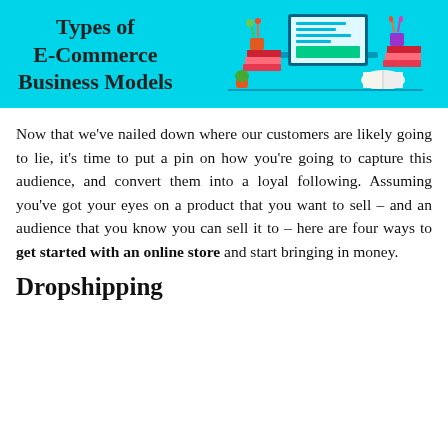[Figure (illustration): Cyan/turquoise banner with bold title 'Types of E-Commerce Business Models' on the left and an isometric illustration of a laptop, books, and office supplies on the right.]
Now that we've nailed down where our customers are likely going to lie, it's time to put a pin on how you're going to capture this audience, and convert them into a loyal following. Assuming you've got your eyes on a product that you want to sell – and an audience that you know you can sell it to – here are four ways to get started with an online store and start bringing in money.
Dropshipping